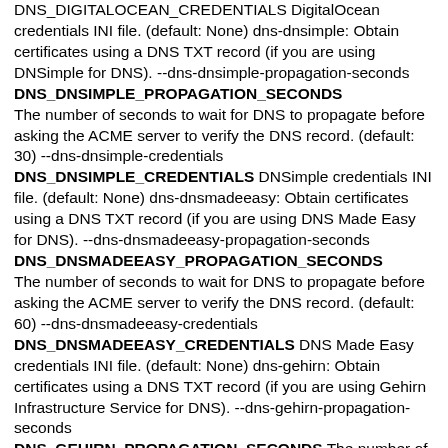DNS_DIGITALOCEAN_CREDENTIALS DigitalOcean credentials INI file. (default: None) dns-dnsimple: Obtain certificates using a DNS TXT record (if you are using DNSimple for DNS). --dns-dnsimple-propagation-seconds DNS_DNSIMPLE_PROPAGATION_SECONDS The number of seconds to wait for DNS to propagate before asking the ACME server to verify the DNS record. (default: 30) --dns-dnsimple-credentials DNS_DNSIMPLE_CREDENTIALS DNSimple credentials INI file. (default: None) dns-dnsmadeeasy: Obtain certificates using a DNS TXT record (if you are using DNS Made Easy for DNS). --dns-dnsmadeeasy-propagation-seconds DNS_DNSMADEEASY_PROPAGATION_SECONDS The number of seconds to wait for DNS to propagate before asking the ACME server to verify the DNS record. (default: 60) --dns-dnsmadeeasy-credentials DNS_DNSMADEEASY_CREDENTIALS DNS Made Easy credentials INI file. (default: None) dns-gehirn: Obtain certificates using a DNS TXT record (if you are using Gehirn Infrastructure Service for DNS). --dns-gehirn-propagation-seconds DNS_GEHIRN_PROPAGATION_SECONDS The number of seconds to wait for DNS to propagate